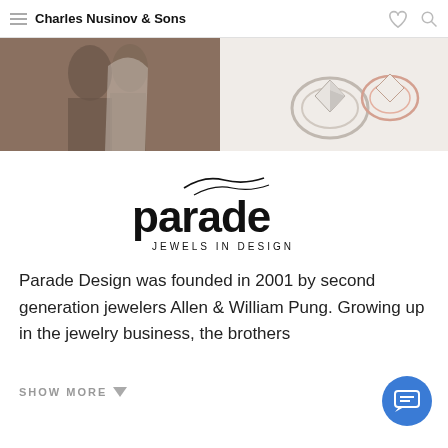Charles Nusinov & Sons
[Figure (photo): Banner image showing a couple and jewelry rings]
[Figure (logo): Parade Jewels in Design logo]
Parade Design was founded in 2001 by second generation jewelers Allen & William Pung. Growing up in the jewelry business, the brothers
SHOW MORE